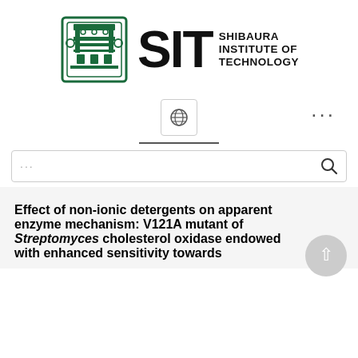[Figure (logo): Shibaura Institute of Technology (SIT) logo: green emblem on left, large bold SIT letters in center, and SHIBAURA INSTITUTE OF TECHNOLOGY text on right]
[Figure (other): Globe/language selector icon button with border]
[Figure (other): Three dots menu icon on right side]
[Figure (other): Horizontal divider line]
[Figure (other): Search bar with placeholder dots and magnifying glass icon]
Effect of non-ionic detergents on apparent enzyme mechanism: V121A mutant of Streptomyces cholesterol oxidase endowed with enhanced sensitivity towards